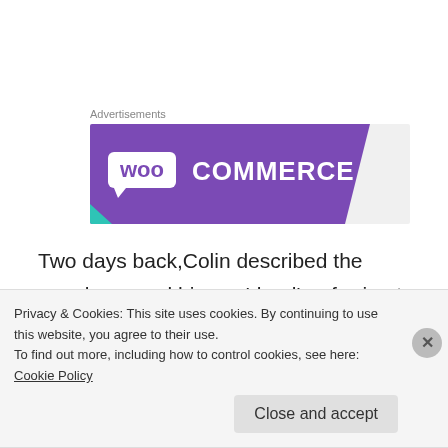Advertisements
[Figure (logo): WooCommerce advertisement banner with purple background and white logo text]
Two days back,Colin described the people around him as 'dead', referring to their close-mindedness, meanness and lack of curiosity. I felt that he was being unfair, over-dramatic, perhaps deliberately spiky for some
Privacy & Cookies: This site uses cookies. By continuing to use this website, you agree to their use.
To find out more, including how to control cookies, see here: Cookie Policy
Close and accept